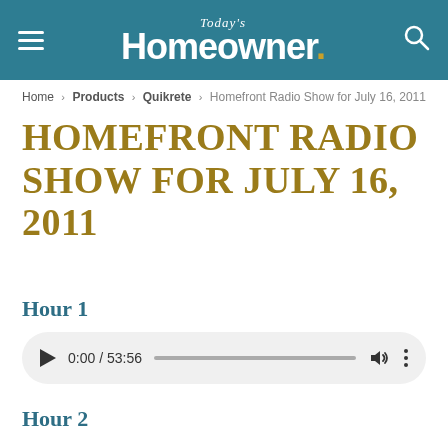Today's Homeowner
Home › Products › Quikrete › Homefront Radio Show for July 16, 2011
HOMEFRONT RADIO SHOW FOR JULY 16, 2011
Hour 1
[Figure (other): Audio player showing 0:00 / 53:56 with play button, progress bar, volume, and more options]
Hour 2